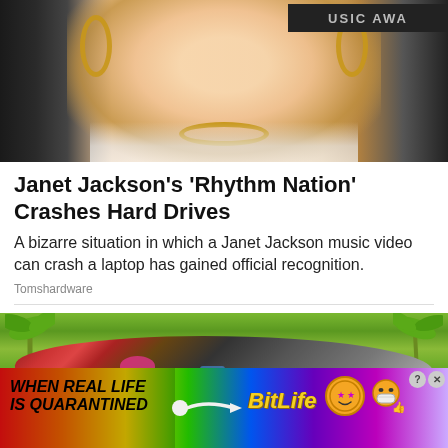[Figure (photo): Photo of Janet Jackson laughing at a music awards event, wearing gold hoop earrings and a gold chain necklace, white top. Partial 'USIC AWA' text visible in background signage.]
Janet Jackson's 'Rhythm Nation' Crashes Hard Drives
A bizarre situation in which a Janet Jackson music video can crash a laptop has gained official recognition.
Tomshardware
[Figure (photo): Photo of an overflowing dumpster filled with trash and various items, surrounded by palm trees and greenery in an outdoor setting.]
[Figure (infographic): BitLife app advertisement banner with rainbow gradient background. Text reads 'WHEN REAL LIFE IS QUARANTINED' on the left, a sperm icon in the center, 'BitLife' logo in yellow, and emoji icons (star-eyes face, masked face with thumbs up) on the right. Close and question mark buttons in top right corner.]